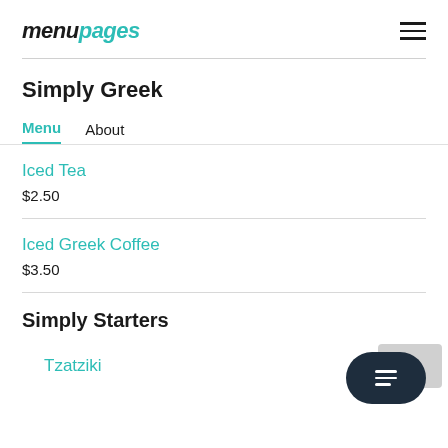menupages
Simply Greek
Menu   About
Iced Tea
$2.50
Iced Greek Coffee
$3.50
Simply Starters
Tzatziki